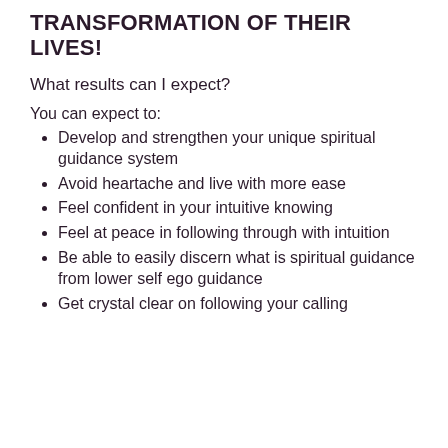TRANSFORMATION OF THEIR LIVES!
What results can I expect?
You can expect to:
Develop and strengthen your unique spiritual guidance system
Avoid heartache and live with more ease
Feel confident in your intuitive knowing
Feel at peace in following through with intuition
Be able to easily discern what is spiritual guidance from lower self ego guidance
Get crystal clear on following your calling